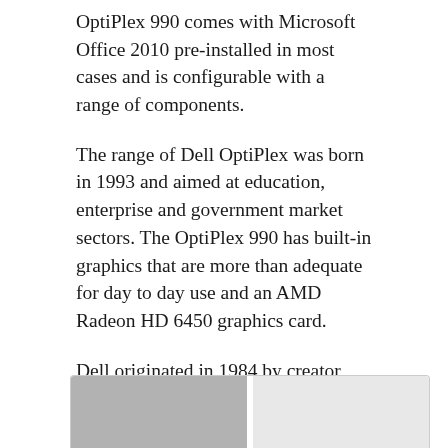OptiPlex 990 comes with Microsoft Office 2010 pre-installed in most cases and is configurable with a range of components.
The range of Dell OptiPlex was born in 1993 and aimed at education, enterprise and government market sectors. The OptiPlex 990 has built-in graphics that are more than adequate for day to day use and an AMD Radeon HD 6450 graphics card.
Dell originated in 1984 by creator Michael Dell who was a student at the University of Texas in Austin and in 1985 the first Dell computer was produced called the Turbo PC and grossed more than $73 million in the first year of operation.
[Figure (photo): Two side-by-side images partially visible at the bottom of the page, left panel is grey/silver, right panel is lighter grey/white.]